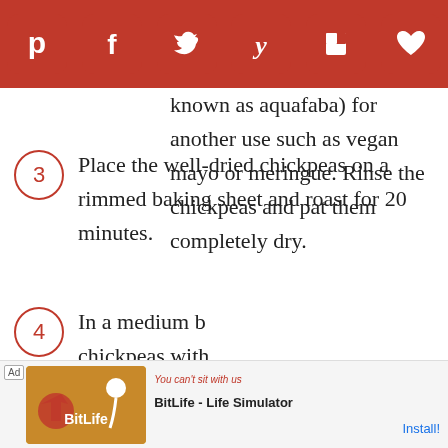[Figure (other): Social media sharing bar with icons for Pinterest, Facebook, Twitter, Yummly, Flipboard, and a heart/save button on a red background]
known as aquafaba) for another use such as vegan mayo or meringue. Rinse the chickpeas and pat them completely dry.
3  Place the well-dried chickpeas on a rimmed baking sheet and roast for 20 minutes.
4  In a medium b[owl,] chickpeas with[...] stir well to co[at...] the rimmed ba[king sheet...] golden and cr[ispy...]
[Figure (infographic): Advertisement banner for BitLife - Life Simulator app with install button]